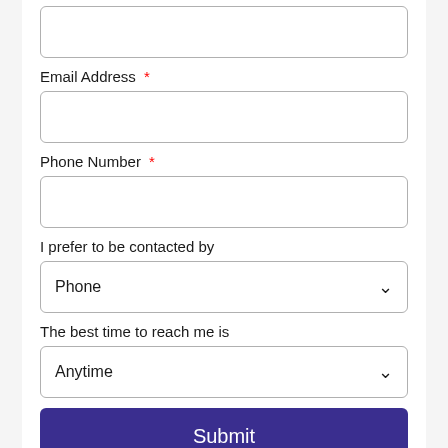Email Address *
Phone Number *
I prefer to be contacted by
The best time to reach me is
Submit